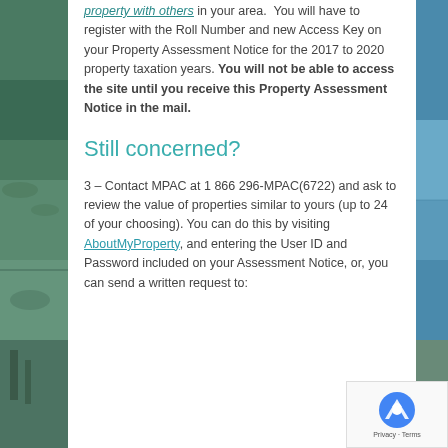property with others in your area. You will have to register with the Roll Number and new Access Key on your Property Assessment Notice for the 2017 to 2020 property taxation years. You will not be able to access the site until you receive this Property Assessment Notice in the mail.
Still concerned?
3 – Contact MPAC at 1 866 296-MPAC(6722) and ask to review the value of properties similar to yours (up to 24 of your choosing). You can do this by visiting AboutMyProperty, and entering the User ID and Password included on your Assessment Notice, or, you can send a written request to: